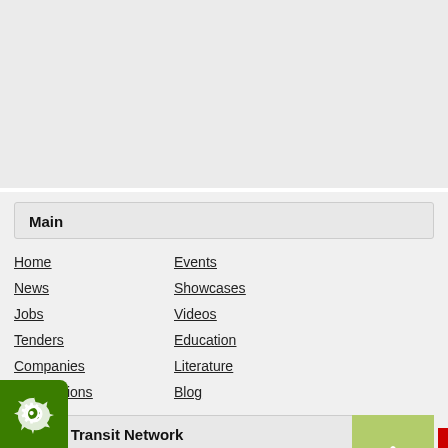Main
Home
Events
News
Showcases
Jobs
Videos
Tenders
Education
Companies
Literature
Associations
Blog
Mass Transit Network
About Mass Transit
About Mass Transit Network